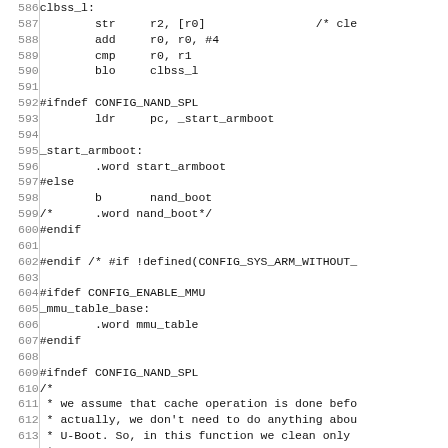Assembly/C source code listing, lines 586-615, showing ARM bootloader code including clbss_l loop, CONFIG_NAND_SPL conditional, _start_armboot, CONFIG_ENABLE_MMU section, and comment block about cache operation.